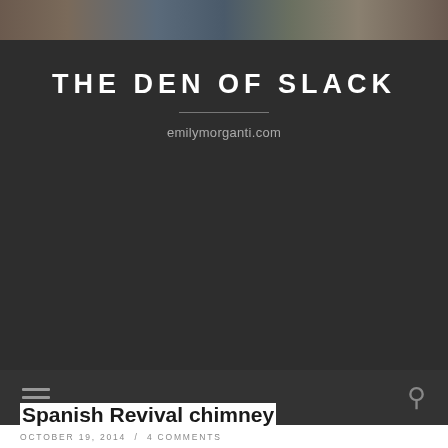[Figure (screenshot): Website header photo strip at top showing blurred colorful background images]
THE DEN OF SLACK
emilymorganti.com
[Figure (screenshot): Navigation bar with hamburger menu icon on left and search icon on right, dark background]
Spanish Revival chimney
OCTOBER 19, 2014 / 4 COMMENTS
I recently added email alerts to the blog. If you want to get a brief, non-spammy email when I post a new blog, please sign up on the right sidebar.